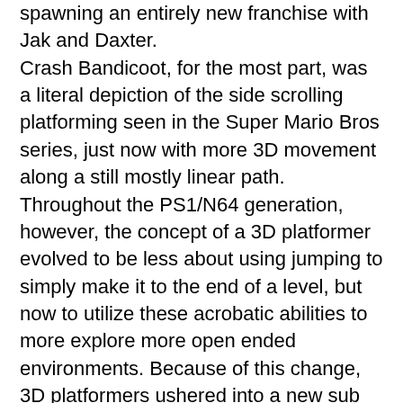spawning an entirely new franchise with Jak and Daxter. Crash Bandicoot, for the most part, was a literal depiction of the side scrolling platforming seen in the Super Mario Bros series, just now with more 3D movement along a still mostly linear path. Throughout the PS1/N64 generation, however, the concept of a 3D platformer evolved to be less about using jumping to simply make it to the end of a level, but now to utilize these acrobatic abilities to more explore more open ended environments. Because of this change, 3D platformers ushered into a new sub genre commonly dubbed "collect-a-thons," where the primary goal was to find a bevy of trinkets, items and treasures in each area in order to advance. Banjo Kazooie and Donkey Kong 64 both opened the door to this new style on the N64, but Jak and Daxter blew said door wide open with the PlayStation 2's capabilities at the time. Players were no longer